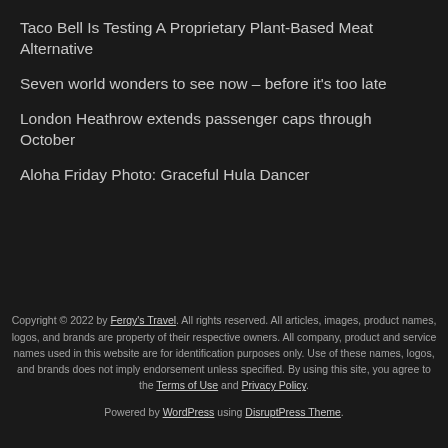Taco Bell Is Testing A Proprietary Plant-Based Meat Alternative
Seven world wonders to see now – before it's too late
London Heathrow extends passenger caps through October
Aloha Friday Photo: Graceful Hula Dancer
Copyright © 2022 by Fergy's Travel. All rights reserved. All articles, images, product names, logos, and brands are property of their respective owners. All company, product and service names used in this website are for identification purposes only. Use of these names, logos, and brands does not imply endorsement unless specified. By using this site, you agree to the Terms of Use and Privacy Policy.
Powered by WordPress using DisruptPress Theme.